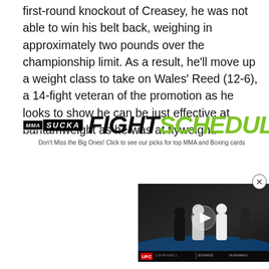first-round knockout of Creasey, he was not able to win his belt back, weighing in approximately two pounds over the championship limit. As a result, he'll move up a weight class to take on Wales' Reed (12-6), a 14-fight veteran of the promotion as he looks to show he can be just effective at bantamweight as he was at flyweight.
[Figure (screenshot): MMA Sucka Fight Schedule advertisement banner with logo and tagline]
[Figure (screenshot): Video player showing MMA fighters on an octagon, with UFC scoreboard overlay at bottom and a play button in the center]